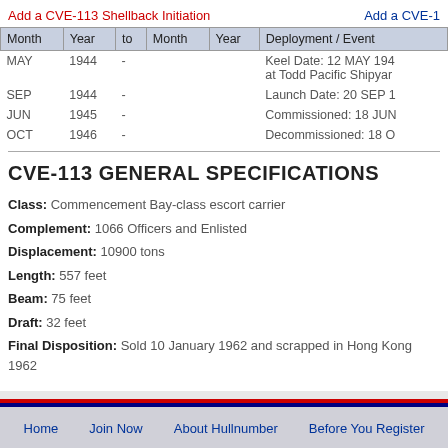Add a CVE-113 Shellback Initiation
Add a CVE-1
| Month | Year | to | Month | Year | Deployment / Event |
| --- | --- | --- | --- | --- | --- |
| MAY | 1944 | - |  |  | Keel Date: 12 MAY 194 at Todd Pacific Shipyar |
| SEP | 1944 | - |  |  | Launch Date: 20 SEP 1 |
| JUN | 1945 | - |  |  | Commissioned: 18 JUN |
| OCT | 1946 | - |  |  | Decommissioned: 18 O |
CVE-113 GENERAL SPECIFICATIONS
Class: Commencement Bay-class escort carrier
Complement: 1066 Officers and Enlisted
Displacement: 10900 tons
Length: 557 feet
Beam: 75 feet
Draft: 32 feet
Final Disposition: Sold 10 January 1962 and scrapped in Hong Kong 1962
Home  Join Now  About Hullnumber  Before You Register  Copyright © 2022 Hu